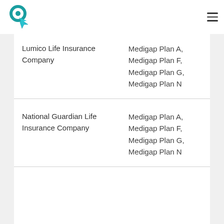Logo and navigation menu
| Company | Plans |
| --- | --- |
| Lumico Life Insurance Company | Medigap Plan A,
Medigap Plan F,
Medigap Plan G,
Medigap Plan N |
| National Guardian Life Insurance Company | Medigap Plan A,
Medigap Plan F,
Medigap Plan G,
Medigap Plan N |